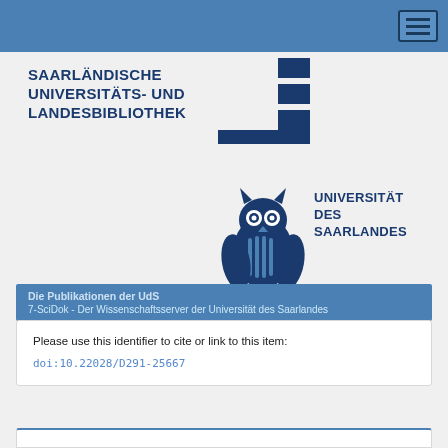Navigation bar with menu button
[Figure (logo): Saarländische Universitäts- und Landesbibliothek (SULB) logo with stacked bar graphic in dark blue]
[Figure (logo): Universität des Saarlandes logo with owl illustration and text]
Die Publikationen der UdS
7-SciDok - Der Wissenschaftsserver der Universität des Saarlandes
Please use this identifier to cite or link to this item:
doi:10.22028/D291-25667